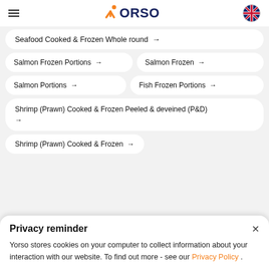Yorso
Seafood Cooked & Frozen Whole round →
Salmon Frozen Portions →
Salmon Frozen →
Salmon Portions →
Fish Frozen Portions →
Shrimp (Prawn) Cooked & Frozen Peeled & deveined (P&D) →
Shrimp (Prawn) Cooked & Frozen →
Privacy reminder
Yorso stores cookies on your computer to collect information about your interaction with our website. To find out more - see our Privacy Policy .